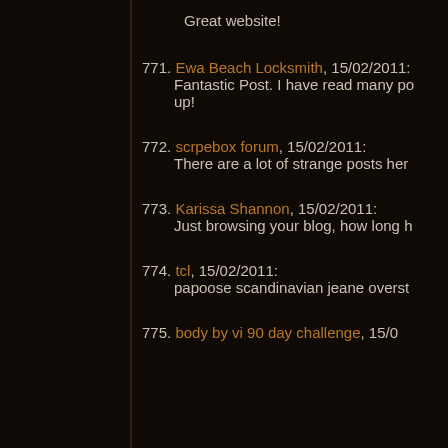Great website!
771. Ewa Beach Locksmith, 15/02/2011: Fantastic Post. I have read many po... up!
772. scrpebox forum, 15/02/2011: There are a lot of strange posts her...
773. Karissa Shannon, 15/02/2011: Just browsing your blog, how long h...
774. tcl, 15/02/2011: papoose scandinavian jeane overst...
775. body by vi 90 day challenge, 15/0...